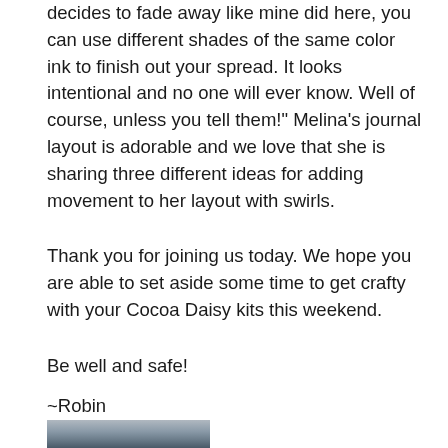decides to fade away like mine did here, you can use different shades of the same color ink to finish out your spread. It looks intentional and no one will ever know. Well of course, unless you tell them!" Melina's journal layout is adorable and we love that she is sharing three different ideas for adding movement to her layout with swirls.
Thank you for joining us today. We hope you are able to set aside some time to get crafty with your Cocoa Daisy kits this weekend.
Be well and safe!
~Robin
[Figure (photo): Partial photo visible at bottom of page, appears to show an outdoor scene]